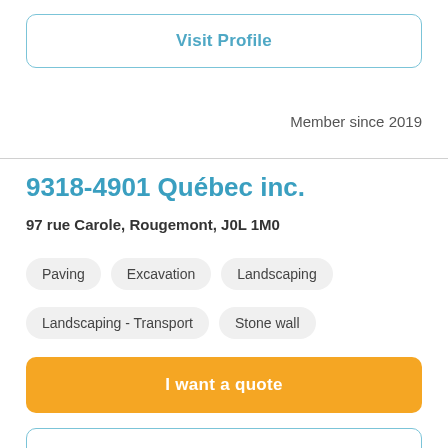Visit Profile
Member since 2019
9318-4901 Québec inc.
97 rue Carole, Rougemont, J0L 1M0
Paving
Excavation
Landscaping
Landscaping - Transport
Stone wall
I want a quote